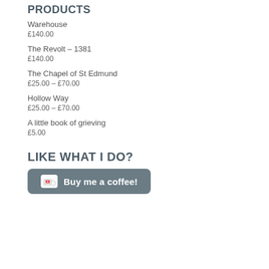PRODUCTS
Warehouse
£140.00
The Revolt – 1381
£140.00
The Chapel of St Edmund
£25.00 – £70.00
Hollow Way
£25.00 – £70.00
A little book of grieving
£5.00
LIKE WHAT I DO?
Buy me a coffee!